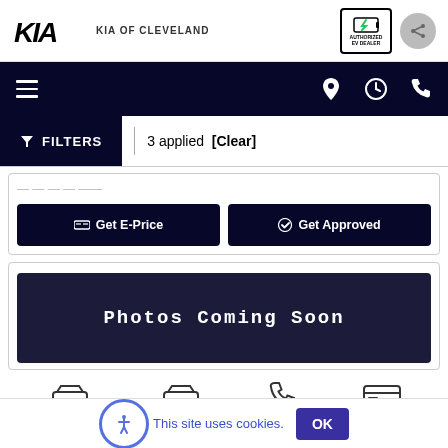KIA OF CLEVELAND
[Figure (screenshot): Navigation bar with hamburger menu and location/clock/phone icons on dark background]
FILTERS | 3 applied [Clear]
Get E-Price | Get Approved
[Figure (screenshot): Photos Coming Soon banner on dark background]
This site uses cookies.
OK